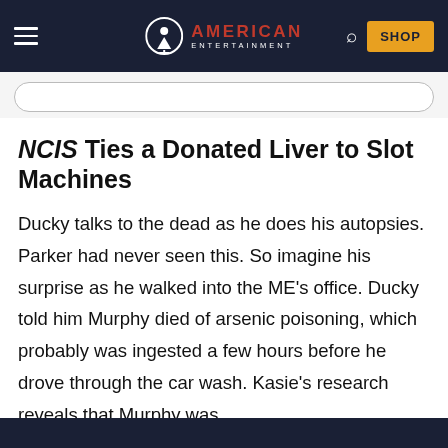American Entertainment — navigation bar with hamburger menu, logo, search icon, and SHOP button
NCIS Ties a Donated Liver to Slot Machines
Ducky talks to the dead as he does his autopsies. Parker had never seen this. So imagine his surprise as he walked into the ME's office. Ducky told him Murphy died of arsenic poisoning, which probably was ingested a few hours before he drove through the car wash. Kasie's research reveals that Murphy was